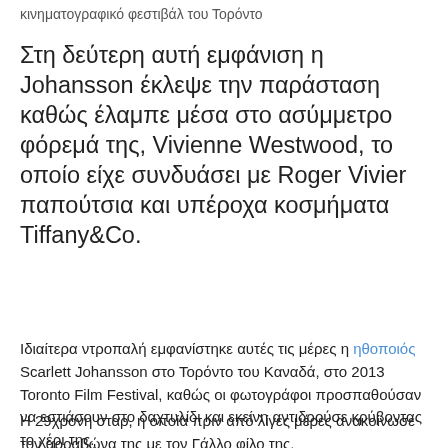κινηματογραφικό φεστιβάλ του Τορόντο
Στη δεύτερη αυτή εμφάνιση η Johansson έκλεψε την παράσταση καθώς έλαμπε μέσα στο ασύμμετρο φόρεμά της, Vivienne Westwood, το οποίο είχε συνδυάσει με Roger Vivier παπούτσια και υπέροχα κοσμήματα Tiffany&Co.
Ιδιαίτερα ντροπαλή εμφανίστηκε αυτές τις μέρες η ηθοποιός Scarlett Johansson στο Τορόντο του Καναδά, στο 2013 Toronto Film Festival, καθώς οι φωτογράφοι προσπαθούσαν να εστιάσουν στο δαχτυλίδι και εκείνη αντιδρούσε κρύβοντας το χέρι της.
Η 29χρονη σταρ, η οποία πριν από λίγες μέρες ανακοίνωσε τον αρραβώνα της με τον Γάλλο φίλο της,